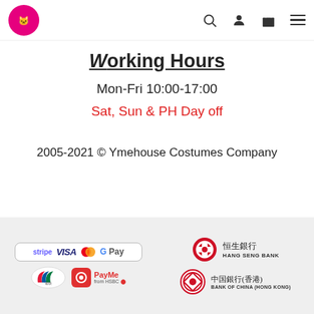Ymehouse Costumes Company - Navigation header with logo, search, user, cart, and menu icons
Working Hours
Mon-Fri 10:00-17:00
Sat, Sun & PH Day off
2005-2021 © Ymehouse Costumes Company
[Figure (logo): Payment methods logos: Stripe, VISA, Mastercard, Google Pay, 银联 (UnionPay), PayMe from HSBC]
[Figure (logo): Bank logos: Hang Seng Bank (恒生銀行) and Bank of China Hong Kong (中国银行香港)]